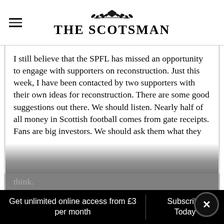THE SCOTSMAN
I still believe that the SPFL has missed an opportunity to engage with supporters on reconstruction. Just this week, I have been contacted by two supporters with their own ideas for reconstruction. There are some good suggestions out there. We should listen. Nearly half of all money in Scottish football comes from gate receipts. Fans are big investors. We should ask them what they think.
Get unlimited online access from £3 per month
Subscribe Today